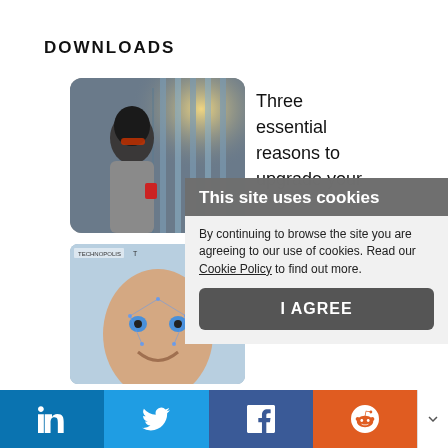DOWNLOADS
[Figure (photo): Woman with sunglasses holding a coffee cup, standing near a glass building in sunlight]
Three essential reasons to upgrade your
[Figure (photo): Man's face with facial recognition overlay dots and lines on a blue technology background]
recognition solution for access
This site uses cookies
By continuing to browse the site you are agreeing to our use of cookies. Read our Cookie Policy to find out more.
I AGREE
in | Twitter | f | Reddit